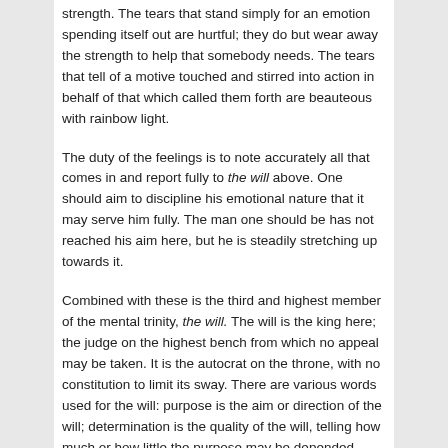strength. The tears that stand simply for an emotion spending itself out are hurtful; they do but wear away the strength to help that somebody needs. The tears that tell of a motive touched and stirred into action in behalf of that which called them forth are beauteous with rainbow light.
The duty of the feelings is to note accurately all that comes in and report fully to the will above. One should aim to discipline his emotional nature that it may serve him fully. The man one should be has not reached his aim here, but he is steadily stretching up towards it.
Combined with these is the third and highest member of the mental trinity, the will. The will is the king here; the judge on the highest bench from which no appeal may be taken. It is the autocrat on the throne, with no constitution to limit its sway. There are various words used for the will: purpose is the aim or direction of the will; determination is the quality of the will, telling how much or how little the purpose may be depended upon; force is the driving power of the will, telling how much pressure or how little